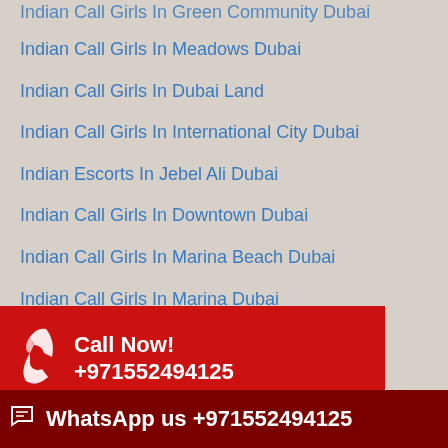Indian Call Girls In Green Community Dubai (partial, top-cropped)
Indian Call Girls In Meadows Dubai
Indian Call Girls In Dubai Land
Indian Call Girls In International City Dubai
Indian Escorts In Jebel Ali Dubai
Indian Call Girls In Downtown Dubai
Indian Call Girls In Marina Beach Dubai
Indian Call Girls In Marina Dubai
Indian Call Girls In Silicon Oasis (partial, overlaid)
Indian Call Girls In Sports City
[Figure (infographic): Red call-now banner with phone icon, text 'Call Now! +971552494125']
[Figure (infographic): Dark red WhatsApp banner with icon, text 'WhatsApp us +971552494125 ubai']